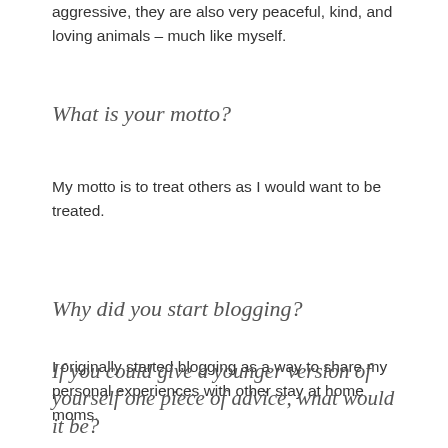aggressive, they are also very peaceful, kind, and loving animals – much like myself.
What is your motto?
My motto is to treat others as I would want to be treated.
Why did you start blogging?
I originally started blogging as a way to share my personal experiences with other stay at home moms.
If you could give a younger version of yourself one piece of advice, what would it be?
Accept yourself for who God made you to be, and don't